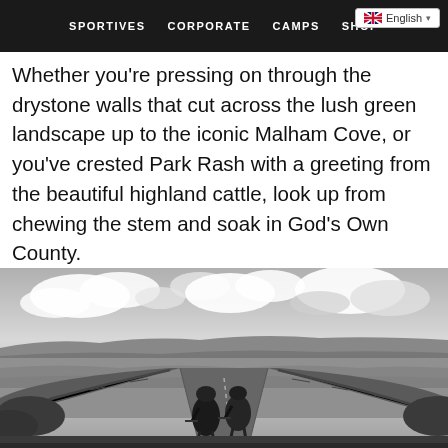SPORTIVES   CORPORATE   CAMPS   SHOP   English
Whether you're pressing on through the drystone walls that cut across the lush green landscape up to the iconic Malham Cove, or you've crested Park Rash with a greeting from the beautiful highland cattle, look up from chewing the stem and soak in God's Own County.
[Figure (photo): Black and white photo of two cyclists riding road bikes up a narrow country lane flanked by drystone walls, with a dramatic cloudy sky and rolling countryside landscape in the background.]